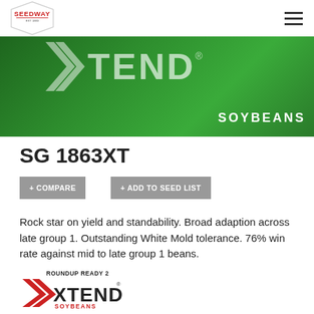[Figure (photo): Roundup Ready 2 Xtend Soybeans hero banner with green soybean leaves background, Seedway logo in top-left corner, hamburger menu icon top-right]
SG 1863XT
+ COMPARE
+ ADD TO SEED LIST
Rock star on yield and standability. Broad adaption across late group 1. Outstanding White Mold tolerance. 76% win rate against mid to late group 1 beans.
[Figure (logo): Roundup Ready 2 Xtend Soybeans logo with chevron arrows and red/black text]